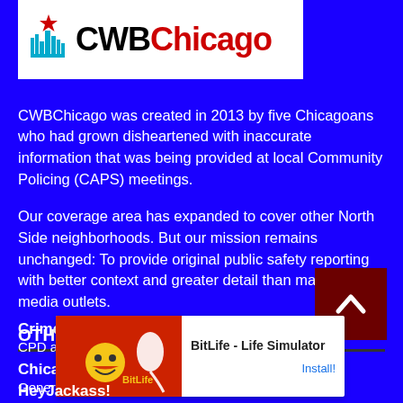[Figure (logo): CWBChicago logo with Chicago skyline icon and star, CWB in black bold text, Chicago in red bold text, on white background]
CWBChicago was created in 2013 by five Chicagoans who had grown disheartened with inaccurate information that was being provided at local Community Policing (CAPS) meetings.
Our coverage area has expanded to cover other North Side neighborhoods. But our mission remains unchanged: To provide original public safety reporting with better context and greater detail than mainstream media outlets.
OTHER PLACES OF INTEREST
Chicago Journal
General interest news
Crime i...
CPD an...
[Figure (screenshot): Advertisement banner: BitLife - Life Simulator with Install! button, red background image area with cartoon characters and sperm icon]
HeyJackass!